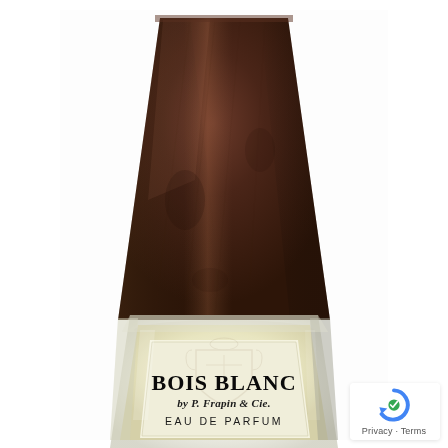[Figure (photo): Close-up product photo of a perfume bottle with a dark brown trapezoidal wooden cap and a glass bottle containing pale yellow liquid. The bottle label reads 'BOIS BLANC by P. Frapin & Cie. EAU DE PARFUM' with a decorative crest/coat of arms embossed in the background of the label.]
Privacy · Terms